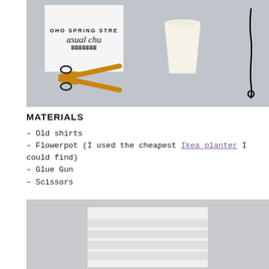[Figure (photo): Flat lay photo showing craft materials on a grey surface: a folded white t-shirt with text 'OHO SPRING STRE casual chu', a pale cream/white flowerpot cup, gold/yellow scissors, and a black cord.]
MATERIALS
– Old shirts
– Flowerpot (I used the cheapest Ikea planter I could find)
– Glue Gun
– Scissors
[Figure (photo): Photo of a white t-shirt laid flat on a grey surface, showing horizontal folded/cut strips across the body of the shirt.]